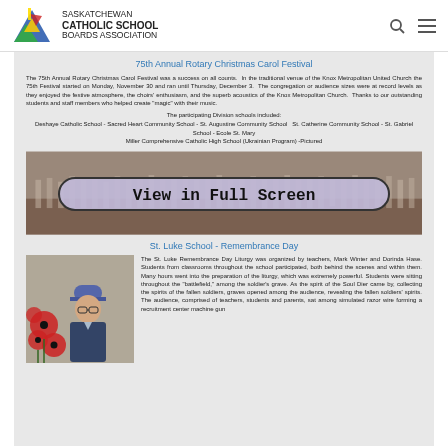Saskatchewan Catholic School Boards Association
75th Annual Rotary Christmas Carol Festival
The 75th Annual Rotary Christmas Carol Festival was a success on all counts. In the traditional venue of the Knox Metropolitan United Church the 75th Festival started on Monday, November 30 and ran until Thursday, December 3. The congregation or audience sizes were at record levels as they enjoyed the festive atmosphere, the choirs' enthusiasm, and the superb acoustics of the Knox Metropolitan Church. Thanks to our outstanding students and staff members who helped create "magic" with their music.
The participating Division schools included:
Deshaye Catholic School - Sacred Heart Community School - St. Augustine Community School    St. Catherine Community School - St. Gabriel School - Ecole St. Mary Miller Comprehensive Catholic High School (Ukrainian Program) -Pictured
[Figure (photo): View in Full Screen button overlay on choir photo showing students performing on stage in a church setting]
St. Luke School - Remembrance Day
[Figure (photo): Photo of a student in military uniform with red poppies decoration]
The St. Luke Remembrance Day Liturgy was organized by teachers, Mark Winter and Dorinda Hase. Students from classrooms throughout the school participated, both behind the scenes and within them. Many hours went into the preparation of the liturgy, which was extremely powerful. Students were sitting throughout the "battlefield," among the soldier's grave. As the spirit of the Soul Dier came by, collecting the spirits of the fallen soldiers, graves opened among the audience, revealing the fallen soldiers' spirits. The audience, comprised of teachers, students and parents, sat among simulated razor wire forming a recruitment center machine gun